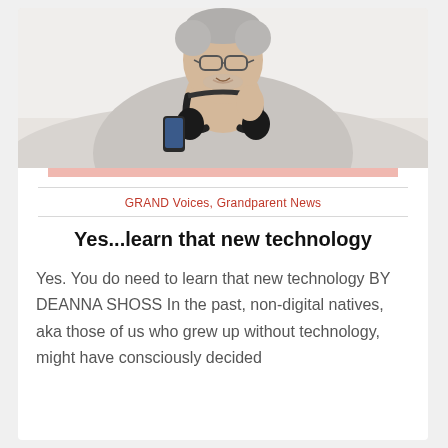[Figure (photo): Older man with glasses and grey hair wearing headphones around his neck, holding a phone, sitting on a light-colored couch in a bright room.]
GRAND Voices, Grandparent News
Yes...learn that new technology
Yes. You do need to learn that new technology BY DEANNA SHOSS In the past, non-digital natives, aka those of us who grew up without technology, might have consciously decided